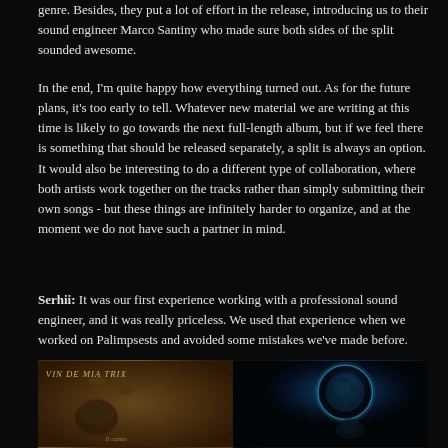genre. Besides, they put a lot of effort in the release, introducing us to their sound engineer Marco Santiny who made sure both sides of the split sounded awesome.
In the end, I'm quite happy how everything turned out. As for the future plans, it's too early to tell. Whatever new material we are writing at this time is likely to go towards the next full-length album, but if we feel there is something that should be released separately, a split is always an option. It would also be interesting to do a different type of collaboration, where both artists work together on the tracks rather than simply submitting their own songs - but these things are infinitely harder to organize, and at the moment we do not have such a partner in mind.
Serhii: It was our first experience working with a professional sound engineer, and it was really priceless. We used that experience when we worked on Palimpsests and avoided some mistakes we've made before.
[Figure (photo): Two album covers side by side. Left: Vin de Mia Trix album art with aged parchment texture, skull and figure illustration, labeled at bottom. Right: Dark atmospheric album cover with glowing teal/blue sphere and wolf or creature silhouette on dark background.]